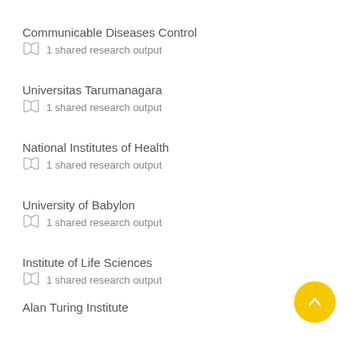Communicable Diseases Control
1 shared research output
Universitas Tarumanagara
1 shared research output
National Institutes of Health
1 shared research output
University of Babylon
1 shared research output
Institute of Life Sciences
1 shared research output
Alan Turing Institute